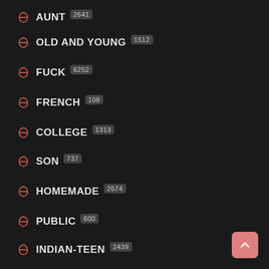AUNT 2641
OLD AND YOUNG 1512
FUCK 6252
FRENCH 108
COLLEGE 1313
SON 737
HOMEMADE 2674
PUBLIC 600
INDIAN-TEEN 2439